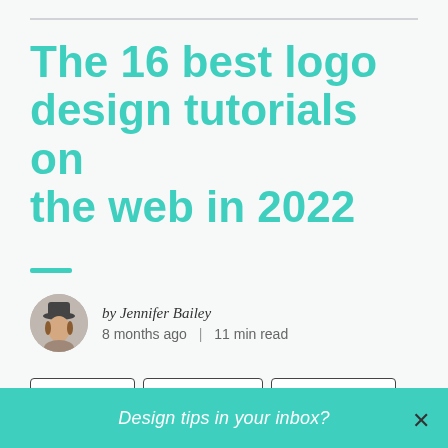The 16 best logo design tutorials on the web in 2022
by Jennifer Bailey
8 months ago | 11 min read
Learn design
Design tutorials
Logo & branding
Design tips in your inbox?